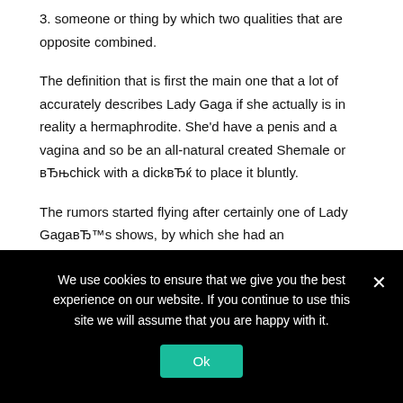3. someone or thing by which two qualities that are opposite combined.
The definition that is first the main one that a lot of accurately describes Lady Gaga if she actually is in reality a hermaphrodite. She'd have a penis and a vagina and so be an all-natural created Shemale or вЂњchick with a dickвЂќ to place it bluntly.
The rumors started flying after certainly one of Lady GagaвЂ™s shows, by which she had an
We use cookies to ensure that we give you the best experience on our website. If you continue to use this site we will assume that you are happy with it.